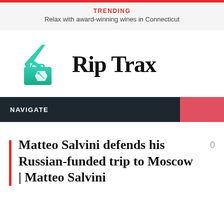TRENDING
Relax with award-winning wines in Connecticut
[Figure (logo): Rip Trax logo: teal airplane and briefcase icon with price tag, next to bold serif text 'Rip Trax']
NAVIGATE
Matteo Salvini defends his Russian-funded trip to Moscow | Matteo Salvini